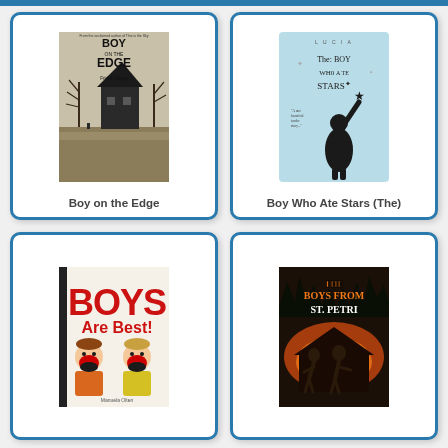[Figure (illustration): Book cover for 'Boy on the Edge' by Fridrik Erlings showing a dark house on a hill with bare trees, text BOY ON THE EDGE in bold]
Boy on the Edge
[Figure (illustration): Book cover for 'The Boy Who Ate Stars' on light blue background with silhouette of boy reaching for a star, handwritten-style title text]
Boy Who Ate Stars (The)
[Figure (illustration): Book cover for 'BOYS Are Best!' by Manuela Olten showing two cartoon boys with big open mouths laughing, bold red and green text]
[Figure (illustration): Book cover for 'The Boys from St. Petri' showing dramatic dark scene with fire, two boys running, orange and white title text]